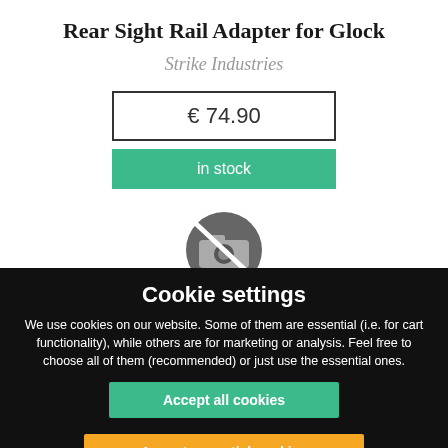Rear Sight Rail Adapter for Glock
Strike Industries
€ 74.90
in stock
[Figure (other): No photo available icon — circular gray crossed-out camera symbol]
Cookie settings
We use cookies on our website. Some of them are essential (i.e. for cart functionality), while others are for marketing or analysis. Feel free to choose all of them (recommended) or just use the essential ones.
Accept all cookies
Accept essential cookies
Refuse cookies